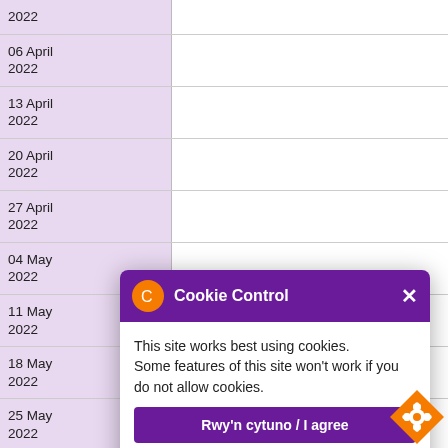| Date |  |
| --- | --- |
| 2022 |  |
| 06 April 2022 |  |
| 13 April 2022 |  |
| 20 April 2022 |  |
| 27 April 2022 |  |
| 04 May 2022 |  |
| 11 May 2022 |  |
| 18 May 2022 |  |
| 25 May 2022 |  |
| 01 June 2022 |  |
| 08 June 2022 |  |
| 15 June 2022 |  |
| 22 June 2022 |  |
| 29 June 2022 |  |
| 06 July 2022 |  |
| 13 July |  |
[Figure (screenshot): Cookie Control popup dialog with purple header showing gear icon and 'Cookie Control' title with X close button. Body text: 'This site works best using cookies. Some features of this site won't work if you do not allow cookies.' Purple 'Rwy'n cytuno / I agree' button. Purple bold text 'Am yr offeryn hwn / about this tool'. Bottom: purple 'mwy / more' bar and orange diamond cookie settings badge.]